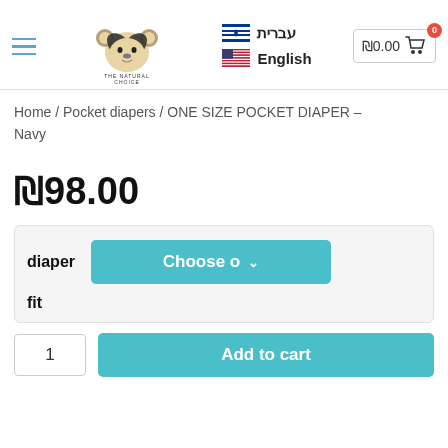Baby Koala - THE NATURAL CHOICE | עברית | English | ₪0.00 cart
Home / Pocket diapers / ONE SIZE POCKET DIAPER – Navy
₪98.00
diaper  Choose  fit
1  Add to cart